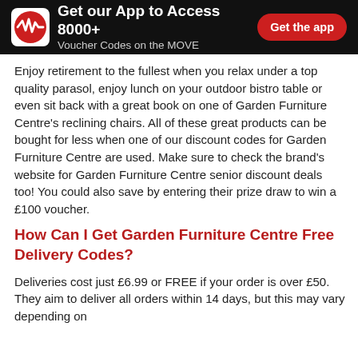Get our App to Access 8000+ Voucher Codes on the MOVE | Get the app
Enjoy retirement to the fullest when you relax under a top quality parasol, enjoy lunch on your outdoor bistro table or even sit back with a great book on one of Garden Furniture Centre's reclining chairs. All of these great products can be bought for less when one of our discount codes for Garden Furniture Centre are used. Make sure to check the brand's website for Garden Furniture Centre senior discount deals too! You could also save by entering their prize draw to win a £100 voucher.
How Can I Get Garden Furniture Centre Free Delivery Codes?
Deliveries cost just £6.99 or FREE if your order is over £50. They aim to deliver all orders within 14 days, but this may vary depending on